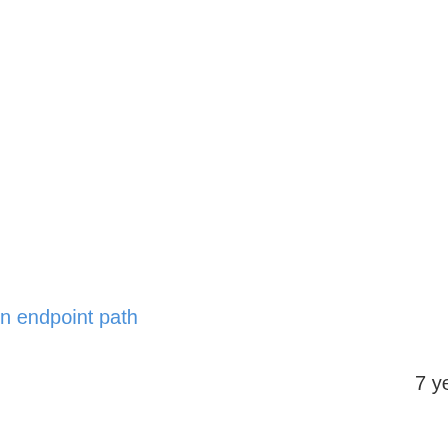n endpoint path
7 years ago
#1505 from annando/1504-...
7 years ago